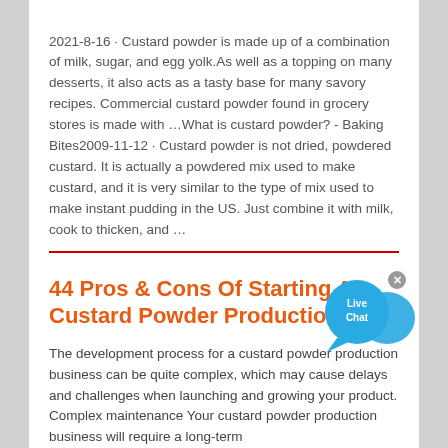2021-8-16 · Custard powder is made up of a combination of milk, sugar, and egg yolk.As well as a topping on many desserts, it also acts as a tasty base for many savory recipes. Commercial custard powder found in grocery stores is made with …What is custard powder? - Baking Bites2009-11-12 · Custard powder is not dried, powdered custard. It is actually a powdered mix used to make custard, and it is very similar to the type of mix used to make instant pudding in the US. Just combine it with milk, cook to thicken, and …
[Figure (other): Live Chat widget — a blue circular speech bubble with 'Live Chat' text and a close button]
44 Pros & Cons Of Starting A Custard Powder Production ...
The development process for a custard powder production business can be quite complex, which may cause delays and challenges when launching and growing your product. Complex maintenance Your custard powder production business will require a long-term